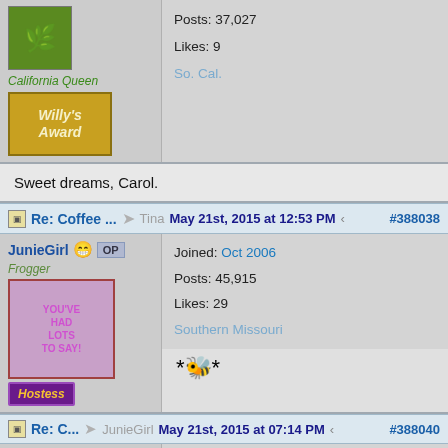California Queen
Posts: 37,027
Likes: 9
So. Cal.
[Figure (illustration): Willy's Award badge - gold/yellow with decorative text]
Sweet dreams, Carol.
Re: Coffee ... → Tina  May 21st, 2015 at 12:53 PM  #388038
JunieGirl  OP
Frogger
Joined: Oct 2006
Posts: 45,915
Likes: 29
Southern Missouri
[Figure (illustration): Hand image badge with text YOU'VE HAD LOTS TO SAY!]
[Figure (illustration): Hostess badge - purple with gold text]
🌼 emoji bee
Re: C... → JunieGirl  May 21st, 2015 at 07:14 PM  #388040
Sunflowers
Northern Star
Joined: Jun 2003
Posts: 29,808
Likes: 52
[Figure (illustration): 20,000 posts badge - gold/yellow]